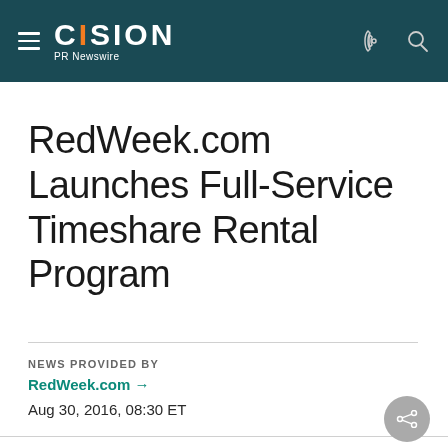CISION PR Newswire
RedWeek.com Launches Full-Service Timeshare Rental Program
NEWS PROVIDED BY
RedWeek.com →
Aug 30, 2016, 08:30 ET